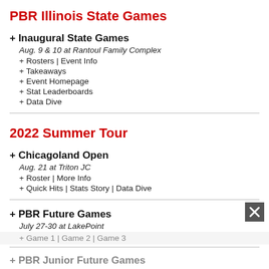PBR Illinois State Games
+ Inaugural State Games
Aug. 9 & 10 at Rantoul Family Complex
+ Rosters | Event Info
+ Takeaways
+ Event Homepage
+ Stat Leaderboards
+ Data Dive
2022 Summer Tour
+ Chicagoland Open
Aug. 21 at Triton JC
+ Roster | More Info
+ Quick Hits | Stats Story | Data Dive
+ PBR Future Games
July 27-30 at LakePoint
+ Game 1 | Game 2 | Game 3
+ PBR Junior Future Games
July 30-31 at LakePoint